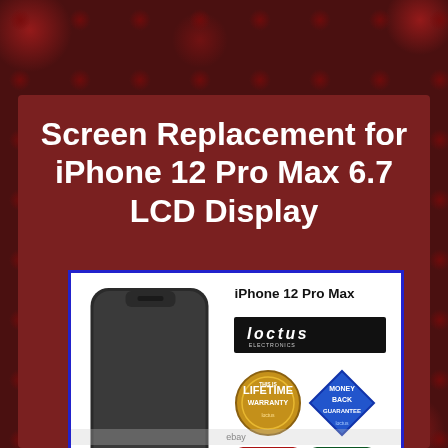Screen Replacement for iPhone 12 Pro Max 6.7 LCD Display
[Figure (photo): Product listing image showing an iPhone 12 Pro Max screen replacement with Loctus brand logo, lifetime warranty badge, money back guarantee badge, free shipping badge, and quality assurance badge. Phone shown with dark screen facing forward.]